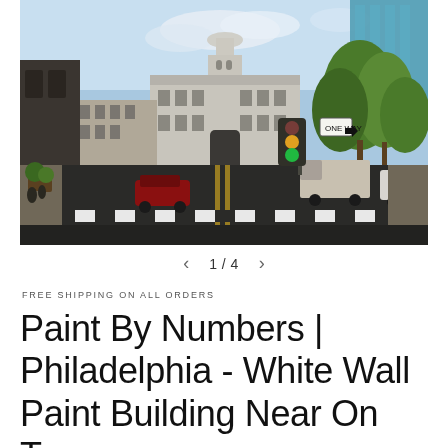[Figure (photo): Street-level photograph looking down a wide urban avenue toward Philadelphia City Hall, a large ornate Beaux-Arts building with a domed tower. Traffic lights hang over the intersection in the foreground, cars and a truck are visible on the road, green trees line the right side, and a crosswalk is painted on the asphalt in the foreground.]
1 / 4
FREE SHIPPING ON ALL ORDERS
Paint By Numbers | Philadelphia - White Wall Paint Building Near On Towers